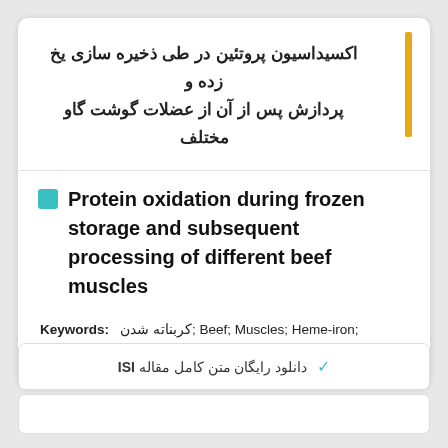اکسیداسیون پروتئین در طی ذخیره سازی یخ زده و پردازش پس از آن از عضلات گوشت گاو مختلف
Protein oxidation during frozen storage and subsequent processing of different beef muscles
Keywords: کربناته شدن; Beef; Muscles; Heme-iron; Antioxidant enzymes; Carbonylation; Freezing;
✓ دانلود رایگان متن کامل مقاله ISI